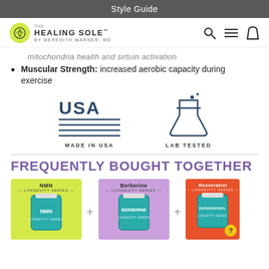Style Guide
[Figure (logo): The Healing Sole by Meredith Warner MD logo with yellow circle icon and navigation icons (search, menu, cart)]
mitochondria health and sirtuin activation
Muscular Strength: increased aerobic capacity during exercise
[Figure (infographic): Two icons: USA flag with lines labeled MADE IN USA, and a laboratory flask labeled LAB TESTED]
FREQUENTLY BOUGHT TOGETHER
[Figure (photo): Three product cards: NMN Longevity Series (yellow background), Berberine Longevity Series (purple background), Resveratrol Longevity Series (orange background), each showing a supplement bottle]